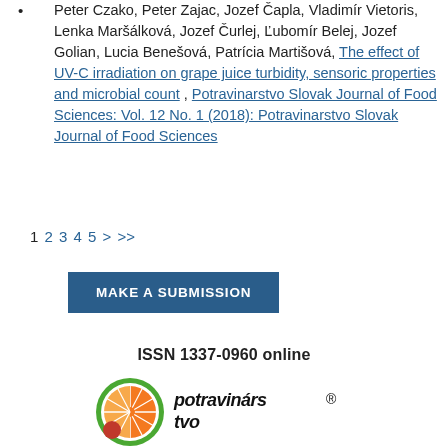Peter Czako, Peter Zajac, Jozef Čapla, Vladimír Vietoris, Lenka Maršálková, Jozef Čurlej, Ľubomír Belej, Jozef Golian, Lucia Benešová, Patrícia Martišová, The effect of UV-C irradiation on grape juice turbidity, sensoric properties and microbial count , Potravinarstvo Slovak Journal of Food Sciences: Vol. 12 No. 1 (2018): Potravinarstvo Slovak Journal of Food Sciences
1 2 3 4 5 > >>
MAKE A SUBMISSION
ISSN 1337-0960 online
[Figure (logo): Potravinarstvo logo: orange citrus slice with green circle border and red dot, with stylized text 'potravinárs tvo' and registered trademark symbol]